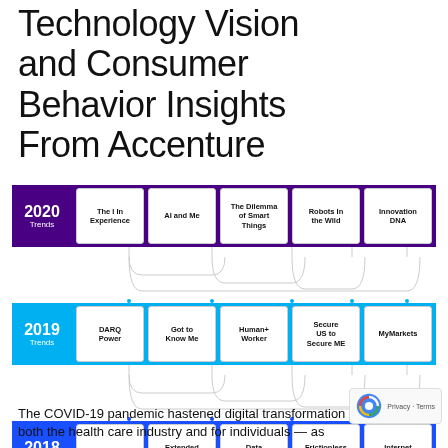Technology Vision and Consumer Behavior Insights From Accenture
[Figure (flowchart): Accenture Technology Vision trends diagram showing three rows for 2020, 2019, and 2018 with connecting lines between trend topics across years. 2020 Trends: The I In Experience, AI and Me, The Dilemma of Smart Things, Robots In the Wild, Innovation DNA. 2019 Trends: DARQ Power, Got to Know Me, Human+ Worker, Secure US to Secure ME, MyMarkets. 2018 Trends: Citizen AI, Extended Reality, Data Veracity, Frictionless Business, Internet of Thinking.]
The COVID-19 pandemic hastened digital transformation for both the health care industry and for individuals — as